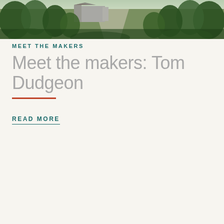[Figure (photo): Aerial or elevated view of a stone building/farmhouse surrounded by green trees and vegetation]
MEET THE MAKERS
Meet the makers: Tom Dudgeon
READ MORE